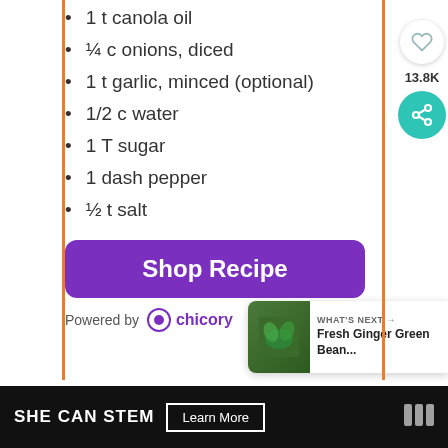1 t canola oil
¼ c onions, diced
1 t garlic, minced (optional)
1/2 c water
1 T sugar
1 dash pepper
½ t salt
[Figure (other): Purple 'Shop Recipe' button with rounded corners]
Powered by chicory
[Figure (other): Heart icon button, share count 13.8K, teal share button on right sidebar]
[Figure (other): What's Next widget showing Fresh Ginger Green Bean... recipe thumbnail]
SHE CAN STEM  Learn More